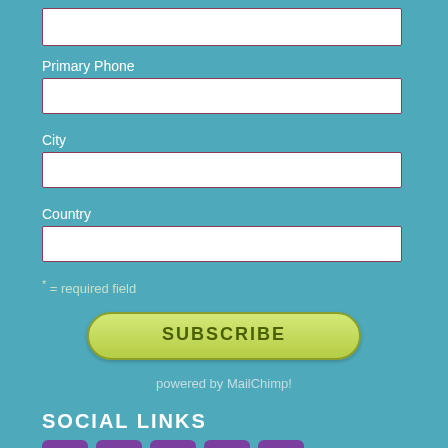[Figure (screenshot): Empty text input field at top of form]
Primary Phone
[Figure (screenshot): Empty text input field for Primary Phone]
City
[Figure (screenshot): Empty text input field for City]
Country
[Figure (screenshot): Empty text input field for Country]
* = required field
[Figure (screenshot): SUBSCRIBE button, green rounded rectangle]
powered by MailChimp!
SOCIAL LINKS
[Figure (illustration): Row of purple square social media icon buttons]